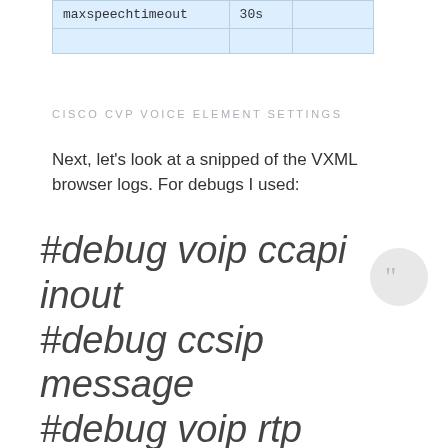| maxspeechtimeout | 30s |
| --- | --- |
CISCO CVP VOICE ELEMENT SETTINGS
Next, let's look at a snipped of the VXML browser logs. For debugs I used:
#debug voip ccapi inout
#debug ccsip message
#debug voip rtp session named
#debug voip application